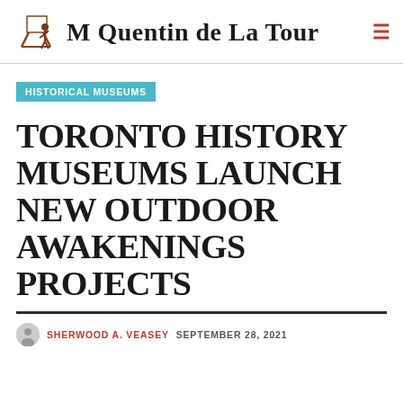M Quentin de La Tour
HISTORICAL MUSEUMS
TORONTO HISTORY MUSEUMS LAUNCH NEW OUTDOOR AWAKENINGS PROJECTS
SHERWOOD A. VEASEY   SEPTEMBER 28, 2021